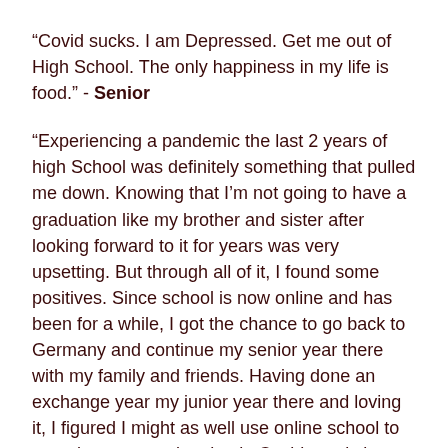“Covid sucks. I am Depressed. Get me out of High School. The only happiness in my life is food.” - Senior
“Experiencing a pandemic the last 2 years of high School was definitely something that pulled me down. Knowing that I’m not going to have a graduation like my brother and sister after looking forward to it for years was very upsetting. But through all of it, I found some positives. Since school is now online and has been for a while, I got the chance to go back to Germany and continue my senior year there with my family and friends. Having done an exchange year my junior year there and loving it, I figured I might as well use online school to my advantage and go back. Covid restrictions